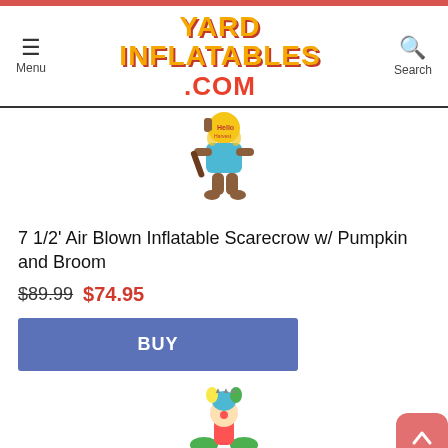YardInflatables.com — Menu | Search
[Figure (photo): Inflatable scarecrow holding a pumpkin and broom, partially visible at top of product listing]
7 1/2' Air Blown Inflatable Scarecrow w/ Pumpkin and Broom
$89.99 $74.95
BUY
[Figure (photo): Inflatable jester/clown figure partially visible at bottom of page]